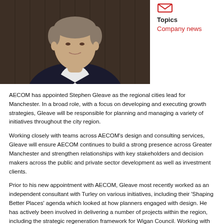[Figure (photo): Headshot of Stephen Gleave, a man in a dark blazer and white shirt, photographed against a wooden background]
Topics
Company news
AECOM has appointed Stephen Gleave as the regional cities lead for Manchester. In a broad role, with a focus on developing and executing growth strategies, Gleave will be responsible for planning and managing a variety of initiatives throughout the city region.
Working closely with teams across AECOM's design and consulting services, Gleave will ensure AECOM continues to build a strong presence across Greater Manchester and strengthen relationships with key stakeholders and decision makers across the public and private sector development as well as investment clients.
Prior to his new appointment with AECOM, Gleave most recently worked as an independent consultant with Turley on various initiatives, including their 'Shaping Better Places' agenda which looked at how planners engaged with design. He has actively been involved in delivering a number of projects within the region, including the strategic regeneration framework for Wigan Council. Working with Deloitte, he played a key role in advising